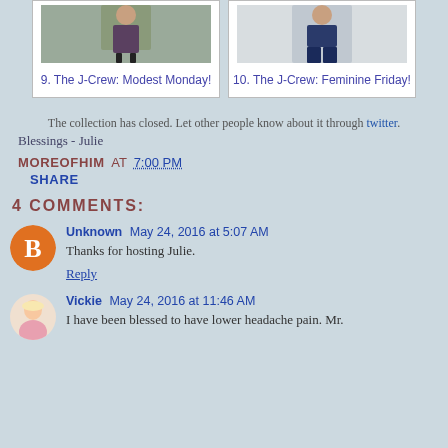[Figure (photo): Two thumbnail photos in a grid: left shows a person in a dress on a path outdoors (item 9), right shows a person in jeans indoors (item 10)]
9. The J-Crew: Modest Monday!
10. The J-Crew: Feminine Friday!
The collection has closed. Let other people know about it through twitter.
Blessings - Julie
MOREOFHIM AT 7:00 PM
SHARE
4 COMMENTS:
Unknown May 24, 2016 at 5:07 AM
Thanks for hosting Julie.
Reply
Vickie May 24, 2016 at 11:46 AM
I have been blessed to have lower headache pain. Mr.